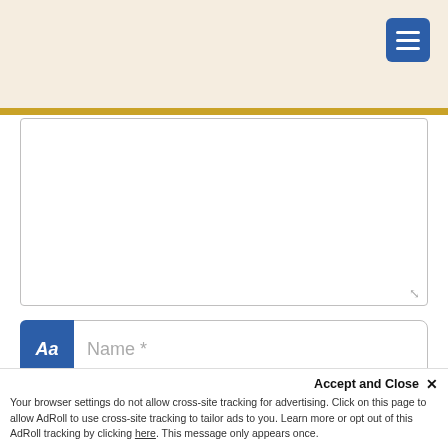[Figure (screenshot): Website header bar with menu button (hamburger icon, blue background) on cream/beige background, with gold separator bar below]
Name *
Email *
Save my name, email, and website in this browser for the next time I comment.
Accept and Close ×
Your browser settings do not allow cross-site tracking for advertising. Click on this page to allow AdRoll to use cross-site tracking to tailor ads to you. Learn more or opt out of this AdRoll tracking by clicking here. This message only appears once.